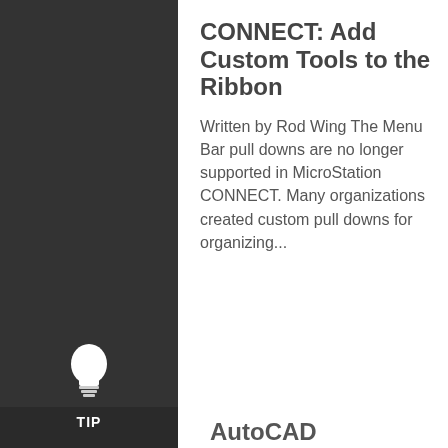[Figure (illustration): White lightbulb icon with TIP label on dark sidebar background]
CONNECT: Add Custom Tools to the Ribbon
Written by Rod Wing The Menu Bar pull downs are no longer supported in MicroStation CONNECT. Many organizations created custom pull downs for organizing...
AutoCAD